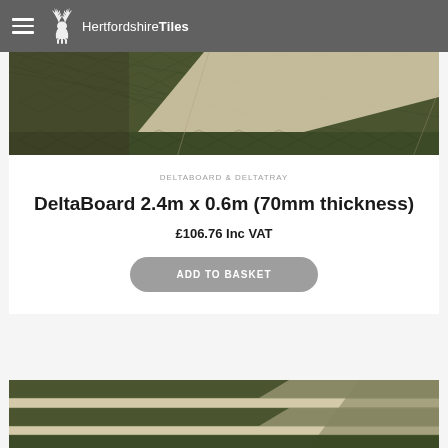Hertfordshire Tiles
[Figure (photo): Close-up of dark olive green textured DeltaBoard panels with cream/beige diagonal stripe insulation visible between layers]
DELTABOARD & DELTATRAY
DeltaBoard 2.4m x 0.6m (70mm thickness)
£106.76 Inc VAT
ADD TO BASKET
[Figure (photo): Close-up of stacked dark olive green DeltaBoard panels showing cream/beige insulation layers between boards at an angle]